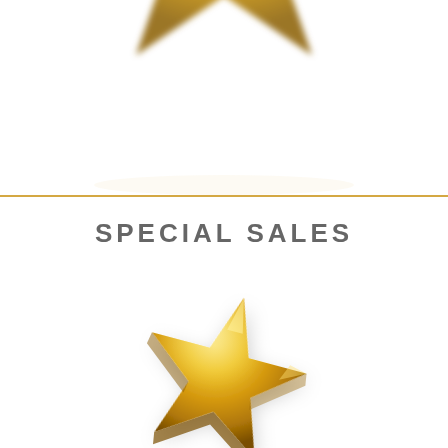[Figure (photo): Blurred partial view of a golden star object at the top of the page, cropped at the top edge]
SPECIAL SALES
[Figure (photo): A shiny golden 3D star object with metallic gold finish, casting a subtle shadow on a white background]